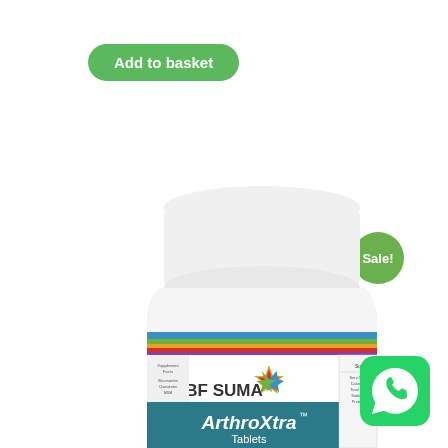[Figure (other): Green 'Add to basket' button in rounded rectangle shape]
[Figure (other): Green circular 'Sale!' badge in top right area]
[Figure (photo): BF SUMA ArthroXtra Tablets supplement bottle with white cap, colorful label showing brand name and product name, partially visible]
[Figure (other): Purple USD currency button on right edge]
[Figure (other): Gray circular plus (+) button on right side]
[Figure (other): Green WhatsApp icon button in bottom right corner]